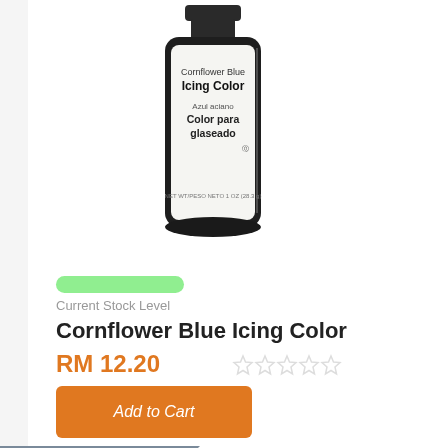[Figure (photo): A dark bottle of Cornflower Blue Icing Color with a label showing 'Cornflower Blue Icing Color / Azul aciano / Color para glaseado']
Current Stock Level
Cornflower Blue Icing Color
RM 12.20
[Figure (other): Five empty star rating icons]
Add to Cart
[Figure (other): SOLD ribbon/banner in grey overlaid on the bottom product card corner]
[Figure (other): Three navigation dots (light grey, dark grey, dark grey) for a carousel]